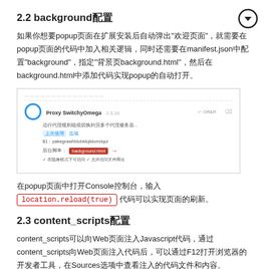2.2 background配置
如果你想要popup页面在扩展安装后自动弹出"欢迎页面"，就需要在popup页面的代码中加入相关逻辑，同时还需要在manifest.json中配置"background"，指定"背景页background.html"，然后在background.html中添加代码实现popup的自动打开。
[Figure (screenshot): Screenshot of Proxy SwitchyOmega extension settings showing background page configuration with a red arrow pointing to background.html field]
在popup页面中打开Console控制台，输入 location.reload(true) 代码可以实现页面的刷新。
2.3 content_scripts配置
content_scripts可以向Web页面注入Javascript代码，通过content_scripts向Web页面注入代码后，可以通过F12打开浏览器的开发者工具，在Sources选项中查看注入的代码文件和内容。